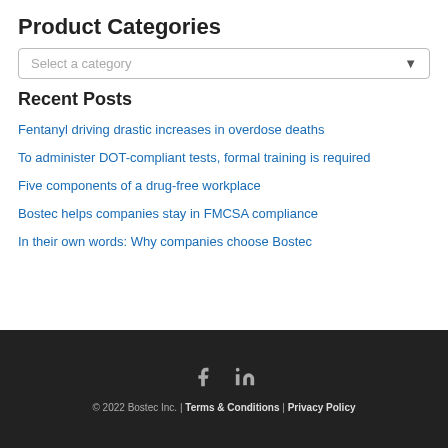Product Categories
Select a category
Recent Posts
Fentanyl driving drastic increases in overdose deaths
To administer DOT-compliant tests, formal training is required
Five components of a drug-free workplace
Bostec helps companies stay in FMCSA compliance
In their own words: Why companies choose Bostec
© 2022 Bostec Inc. | Terms & Conditions | Privacy Policy